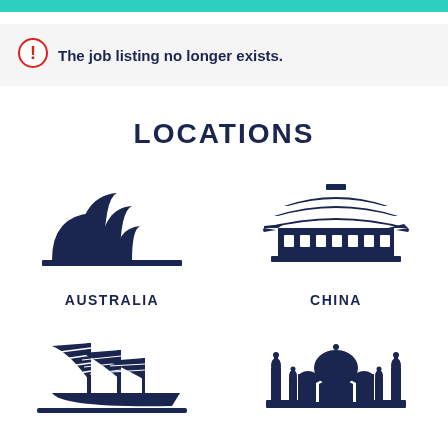The job listing no longer exists.
LOCATIONS
[Figure (illustration): Dark navy silhouette of Sydney Opera House representing Australia]
AUSTRALIA
[Figure (illustration): Dark navy silhouette of a Chinese temple/pavilion representing China]
CHINA
[Figure (illustration): Dark navy silhouette of a Chinese junk boat representing Hong Kong]
[Figure (illustration): Dark navy silhouette of the Taj Mahal representing India]